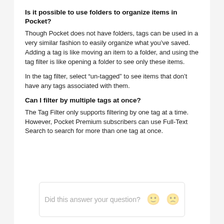Is it possible to use folders to organize items in Pocket?
Though Pocket does not have folders, tags can be used in a very similar fashion to easily organize what you’ve saved. Adding a tag is like moving an item to a folder, and using the tag filter is like opening a folder to see only these items.
In the tag filter, select “un-tagged” to see items that don’t have any tags associated with them.
Can I filter by multiple tags at once?
The Tag Filter only supports filtering by one tag at a time. However, Pocket Premium subscribers can use Full-Text Search to search for more than one tag at once.
Did this answer your question?